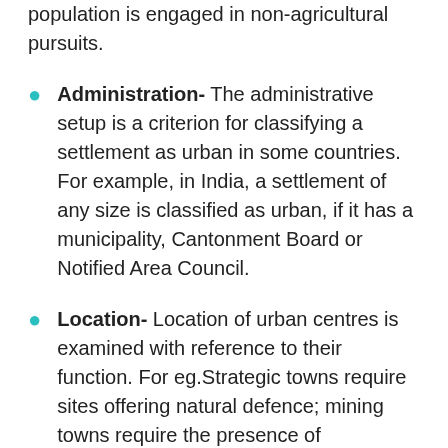population is engaged in non-agricultural pursuits.
Administration- The administrative setup is a criterion for classifying a settlement as urban in some countries. For example, in India, a settlement of any size is classified as urban, if it has a municipality, Cantonment Board or Notified Area Council.
Location- Location of urban centres is examined with reference to their function. For eg.Strategic towns require sites offering natural defence; mining towns require the presence of economically valuable minerals; industrial towns generally need local energy...